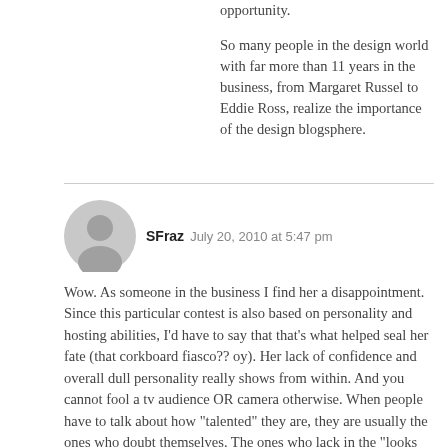opportunity.
So many people in the design world with far more than 11 years in the business, from Margaret Russel to Eddie Ross, realize the importance of the design blogsphere.
SFraz  July 20, 2010 at 5:47 pm
Wow. As someone in the business I find her a disappointment. Since this particular contest is also based on personality and hosting abilities, I’d have to say that that’s what helped seal her fate (that corkboard fiasco?? oy). Her lack of confidence and overall dull personality really shows from within. And you cannot fool a tv audience OR camera otherwise. When people have to talk about how “talented” they are, they are usually the ones who doubt themselves. The ones who lack in the “looks department” usually feel like they have to bully other people. Really, if she had a good attitude and REAL confidence, THAT would come through and make her much more